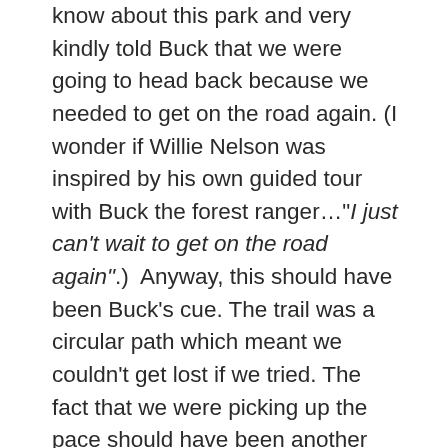know about this park and very kindly told Buck that we were going to head back because we needed to get on the road again. (I wonder if Willie Nelson was inspired by his own guided tour with Buck the forest ranger…"I just can't wait to get on the road again".)  Anyway, this should have been Buck's cue. The trail was a circular path which meant we couldn't get lost if we tried. The fact that we were picking up the pace should have been another little hint. But Ranger School didn't offer a class on the art of picking up subtle clues. Buck was clueless. We walked faster and as we did, Buck talked faster. It was about that time that he asked if we knew what a controlled burn was. Now, in my defense and as any type 7 would back me up